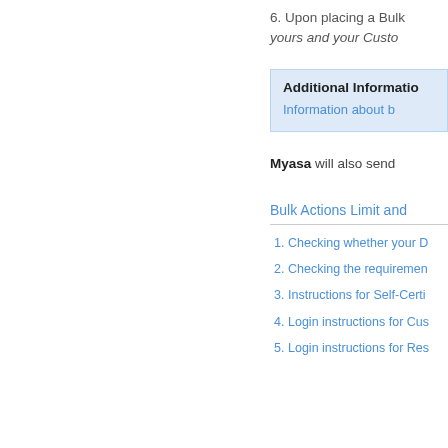6. Upon placing a Bulk yours and your Custo
Additional Informatio
Information about b
Myasa will also send
Bulk Actions Limit and
1. Checking whether your D
2. Checking the requiremen
3. Instructions for Self-Certi
4. Login instructions for Cus
5. Login instructions for Res